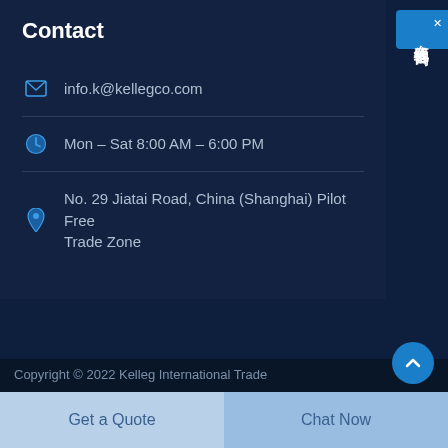Contact
info.k@kellegco.com
Mon – Sat 8:00 AM – 6:00 PM
No. 29 Jiatai Road, China (Shanghai) Pilot Free Trade Zone
[Figure (screenshot): Chinese language live chat widget button with text '在线咨询' (Online Consultation) and close X button, blue background on right edge of page]
Copyright © 2022 Kelleg International Trade
Get a Quote
Chat Now